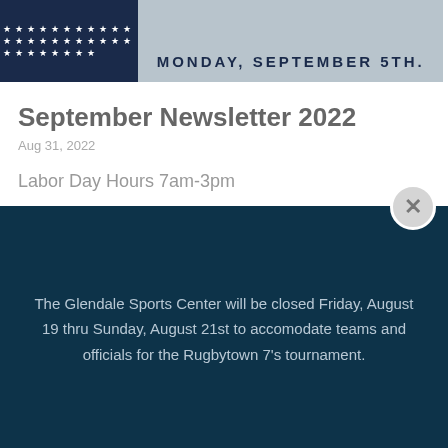[Figure (photo): Banner image with American flag stars on dark navy blue background on the left, and text 'MONDAY, SEPTEMBER 5TH.' in bold dark letters on a grey-blue wooden surface on the right.]
September Newsletter 2022
Aug 31, 2022
Labor Day Hours 7am-3pm
The Glendale Sports Center will be closed Friday, August 19 thru Sunday, August 21st to accomodate teams and officials for the Rugbytown 7's tournament.